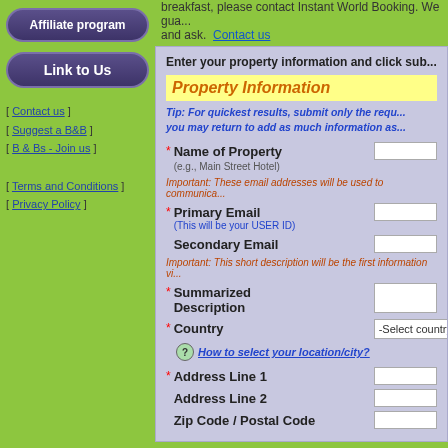breakfast, please contact Instant World Booking. We gua... and ask. Contact us
Enter your property information and click sub...
Property Information
Tip: For quickest results, submit only the requ... you may return to add as much information as...
* Name of Property (e.g., Main Street Hotel)
Important: These email addresses will be used to communica...
* Primary Email (This will be your USER ID)
Secondary Email
Important: This short description will be the first information vi...
* Summarized Description
* Country
? How to select your location/city?
* Address Line 1
Address Line 2
Zip Code / Postal Code